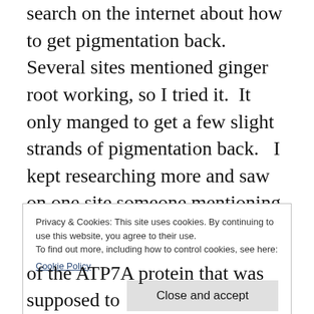search on the internet about how to get pigmentation back.  Several sites mentioned ginger root working, so I tried it.  It only manged to get a few slight strands of pigmentation back.   I kept researching more and saw on one site someone mentioning that he was taking copper supplements as well as using ginger root.  Wondering what copper had to do with getting pigmentation back, I looked up the role of copper in the body and signs of copper deficiency.  Suddenly I saw every single
Privacy & Cookies: This site uses cookies. By continuing to use this website, you agree to their use.
To find out more, including how to control cookies, see here:
Cookie Policy
Close and accept
of the ATP7A protein that was supposed to